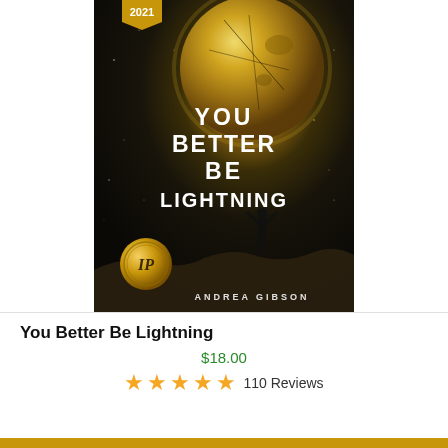[Figure (illustration): Book cover of 'You Better Be Lightning' by Andrea Gibson. Dark night sky background with a large glowing moon, a silhouetted person on rocks reaching upward, stars in background, IP award medal on the lower left, and year badge '2021' at top left. Title text reads 'YOU BETTER BE LIGHTNING' in white bold letters.]
You Better Be Lightning
$18.00
110 Reviews